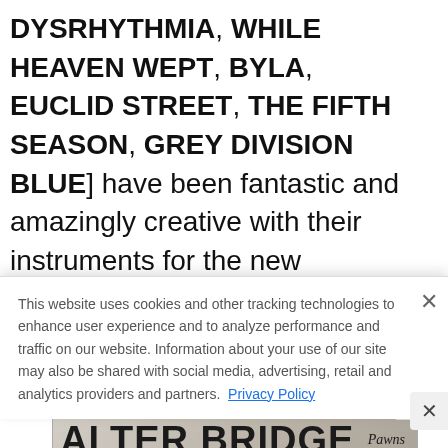DYSRHYTHMIA, WHILE HEAVEN WEPT, BYLA, EUCLID STREET, THE FIFTH SEASON, GREY DIVISION BLUE] have been fantastic and amazingly creative with their instruments for the new compositions.
[Figure (photo): Alter Bridge 2022 North American Tour advertisement banner showing 'Alter Bridge Pawns & Kings' text over a marble and golden gear background]
This website uses cookies and other tracking technologies to enhance user experience and to analyze performance and traffic on our website. Information about your use of our site may also be shared with social media, advertising, retail and analytics providers and partners. Privacy Policy
[Figure (photo): Carpenter Brut advertisement: SAT. SEPTEMBER 3 • THE FILLMORE SILVER SPRING]